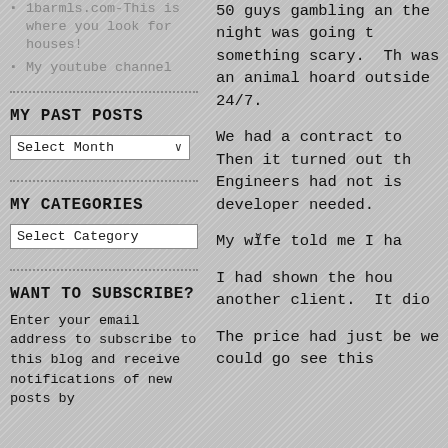1barmls.com-This is where you look for houses!
My youtube channel
MY PAST POSTS
Select Month (dropdown)
MY CATEGORIES
Select Category (dropdown)
WANT TO SUBSCRIBE?
Enter your email address to subscribe to this blog and receive notifications of new posts by
50 guys gambling and the night was going to something scary.  The was an animal hoard outside 24/7.
We had a contract to Then it turned out th Engineers had not is developer needed.
My wife told me I ha
I had shown the hou another client.  It dio
The price had just be we could go see this didn't think b